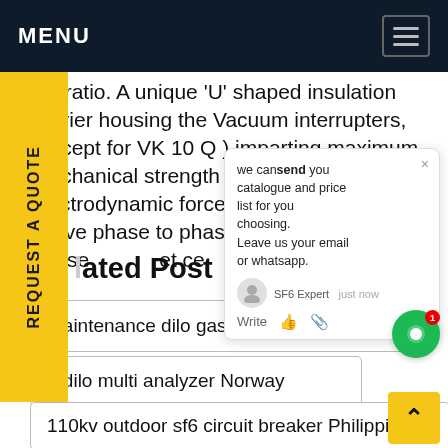MENU
KA ratio. A unique 'U' shaped insulation barrier housing the Vacuum interrupters, (except for VK 10 Q ) imparting maximum mechanical strength against electrodynamic forces and most effective phase to phase and phase to earth clearance
[Figure (screenshot): Chat popup overlay with message: 'we can send you catalogue and price list for you choosing. Leave us your email or whatsapp.' with SF6 Expert label and 'just now' timestamp, and a green chat bubble with badge '1']
Related Post
maintenance dilo gas recovery Japan
o dilo multi analyzer Norway
110kv outdoor sf6 circuit breaker Philippines